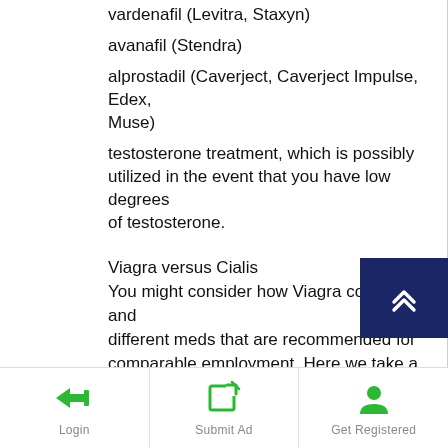vardenafil (Levitra, Staxyn)
avanafil (Stendra)
alprostadil (Caverject, Caverject Impulse, Edex, Muse)
testosterone treatment, which is possibly utilized in the event that you have low degrees of testosterone.
Viagra versus Cialis
You might consider how Viagra contrasts and different meds that are recommended for comparable employment. Here we take a gander at how Viagra and Cialis are similar and unique.
Fixings
Login | Submit Ad | Get Registered